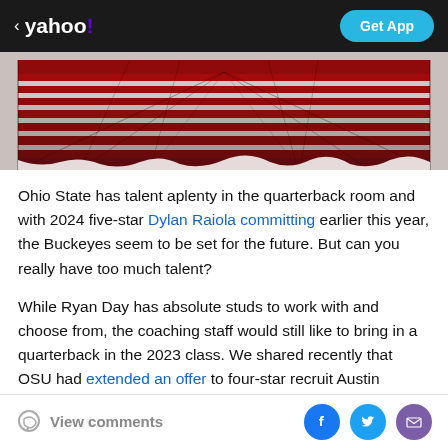< yahoo!  Get App
[Figure (photo): Aerial view of Ohio State football stadium seating in red and white, overhead perspective showing rows of seats]
Ohio State has talent aplenty in the quarterback room and with 2024 five-star Dylan Raiola committing earlier this year, the Buckeyes seem to be set for the future. But can you really have too much talent?
While Ryan Day has absolute studs to work with and choose from, the coaching staff would still like to bring in a quarterback in the 2023 class. We shared recently that OSU had extended an offer to four-star recruit Austin Novosad, who happens to be verbally committed to
View comments  [Facebook] [Twitter] [Email]